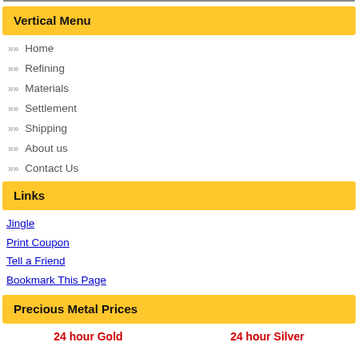Vertical Menu
Home
Refining
Materials
Settlement
Shipping
About us
Contact Us
Links
Jingle
Print Coupon
Tell a Friend
Bookmark This Page
Precious Metal Prices
24 hour Gold    24 hour Silver